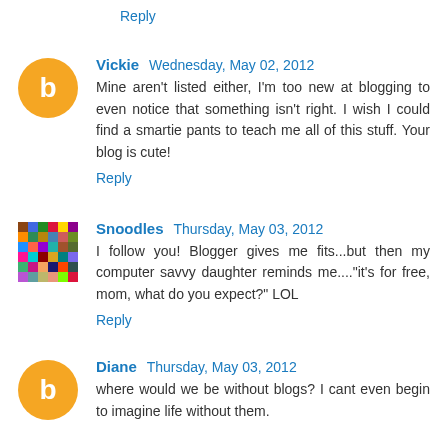Reply
Vickie Wednesday, May 02, 2012
Mine aren't listed either, I'm too new at blogging to even notice that something isn't right. I wish I could find a smartie pants to teach me all of this stuff. Your blog is cute!
Reply
Snoodles Thursday, May 03, 2012
I follow you! Blogger gives me fits...but then my computer savvy daughter reminds me...."it's for free, mom, what do you expect?" LOL
Reply
Diane Thursday, May 03, 2012
where would we be without blogs? I cant even begin to imagine life without them.